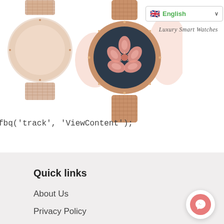[Figure (screenshot): Two rose gold smartwatches with mesh bands. Left watch partially cropped, right watch centered showing a dark face with pink cherry blossom flower design.]
English (language selector with UK flag)
Luxury Smart Watches
fbq('track', 'ViewContent');
Quick links
About Us
Privacy Policy